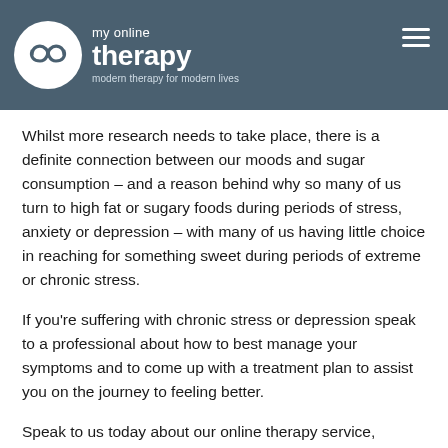my online therapy — modern therapy for modern lives
Whilst more research needs to take place, there is a definite connection between our moods and sugar consumption – and a reason behind why so many of us turn to high fat or sugary foods during periods of stress, anxiety or depression – with many of us having little choice in reaching for something sweet during periods of extreme or chronic stress.
If you're suffering with chronic stress or depression speak to a professional about how to best manage your symptoms and to come up with a treatment plan to assist you on the journey to feeling better.
Speak to us today about our online therapy service, available soon.